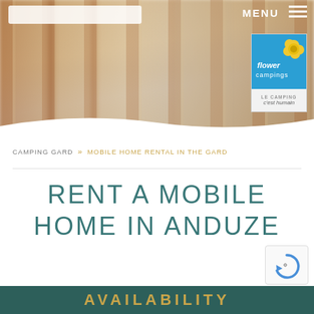[Figure (photo): Blurred interior room background image with warm wood tones, serving as hero banner for a camping website]
MENU
[Figure (logo): Flower Campings logo - blue square with yellow flower graphic, white cursive 'flower campings' text, tagline 'LE CAMPING c'est humain']
CAMPING GARD » MOBILE HOME RENTAL IN THE GARD
RENT A MOBILE HOME IN ANDUZE
AVAILABILITY